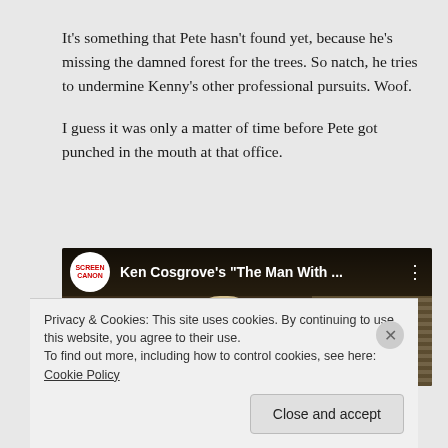It's something that Pete hasn't found yet, because he's missing the damned forest for the trees. So natch, he tries to undermine Kenny's other professional pursuits. Woof.
I guess it was only a matter of time before Pete got punched in the mouth at that office.
[Figure (screenshot): YouTube video thumbnail showing Ken Cosgrove's 'The Man With ...' with a scene from Mad Men showing two characters, overlaid with YouTube channel logo and video title bar.]
Privacy & Cookies: This site uses cookies. By continuing to use this website, you agree to their use.
To find out more, including how to control cookies, see here: Cookie Policy